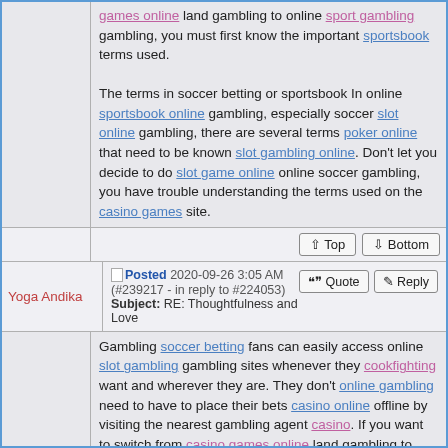games online land gambling to online sport gambling gambling, you must first know the important sportsbook terms used.

The terms in soccer betting or sportsbook In online sportsbook online gambling, especially soccer slot online gambling, there are several terms poker online that need to be known slot gambling online. Don't let you decide to do slot game online online soccer gambling, you have trouble understanding the terms used on the casino games site.
Top | Bottom
Yoga Andika
Posted 2020-09-26 3:05 AM (#239217 - in reply to #224053)
Subject: RE: Thoughtfulness and Love
Gambling soccer betting fans can easily access online slot gambling gambling sites whenever they cookfighting want and wherever they are. They don't online gambling need to have to place their bets casino online offline by visiting the nearest gambling agent casino. If you want to switch from casino games online land gambling to online sport gambling gambling, you must first know the important sportsbook terms used.